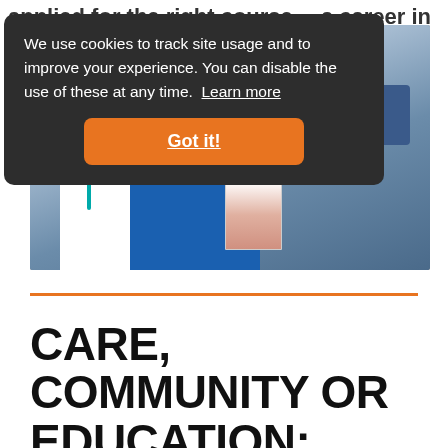applied for the right course… a career in
[Figure (photo): Two people in a medical/educational setting, one in white with a teal lanyard and one in blue scrubs, holding a human skeleton anatomical model. Blue chairs visible in background.]
We use cookies to track site usage and to improve your experience. You can disable the use of these at any time. Learn more
Got it!
CARE, COMMUNITY OR EDUCATION: MEET YOUR